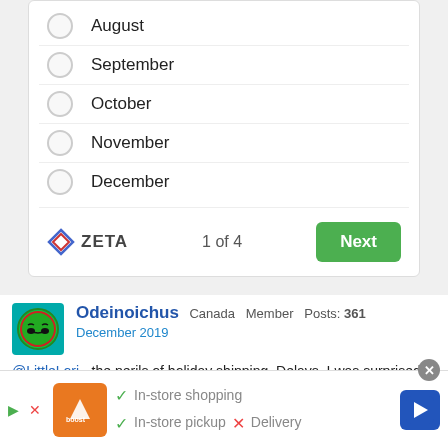August
September
October
November
December
[Figure (logo): Zeta logo with diamond shape and ZETA text]
1 of 4
Next
Odeinoichus  Canada  Member  Posts: 361
December 2019
@LittleLori - the perils of holiday shipping. Delays. I was surprised I got anything I ordered before Christmas, but a unrelated purchase from Amazon shipped on the 23rd actually was delivered Christmas Eve. So at least I had something to open, even if it wasn't LEGO.
[Figure (screenshot): Ad banner with Boost Mobile logo, checkmarks for In-store shopping and In-store pickup, X for Delivery, and navigation arrow icon]